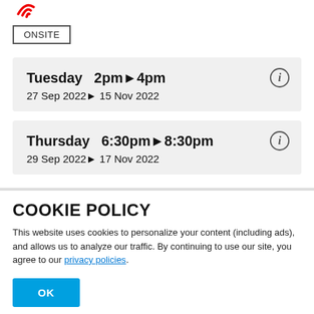[Figure (logo): Red icon/logo at top left]
ONSITE
Tuesday  2pm▶4pm
27 Sep 2022▶ 15 Nov 2022
Thursday  6:30pm▶8:30pm
29 Sep 2022▶ 17 Nov 2022
COOKIE POLICY
This website uses cookies to personalize your content (including ads), and allows us to analyze our traffic. By continuing to use our site, you agree to our privacy policies.
OK